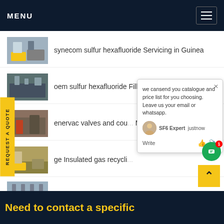MENU
synecom sulfur hexafluoride Servicing in Guinea
oem sulfur hexafluoride Filling in Costa Rica
enervac valves and cou... M...
ge Insulated gas recycli...
odm sf6 mixture Separating in Africa
we cansend you catalogue and price list for you choosing.
Leave us your email or whatsapp.
SF6 Expert  justnow
Write
Need to contact a specific